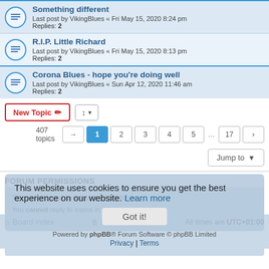Something different
Last post by VikingBlues « Fri May 15, 2020 8:24 pm
Replies: 2
R.I.P. Little Richard
Last post by VikingBlues « Fri May 15, 2020 8:13 pm
Replies: 2
Corona Blues - hope you're doing well
Last post by VikingBlues « Sun Apr 12, 2020 11:46 am
Replies: 2
New Topic | Sort | 407 topics | 1 2 3 4 5 ... 17 >
Jump to
FORUM PERMISSIONS
You cannot post new topics in this forum
You cannot reply to topics in this forum
You cannot edit your posts in this forum
You cannot delete your posts in this forum
You cannot post attachments in this forum
This website uses cookies to ensure you get the best experience on our website. Learn more
Got it!
Board index | Delete cookies | All times are UTC+01:00
Powered by phpBB® Forum Software © phpBB Limited
Privacy | Terms